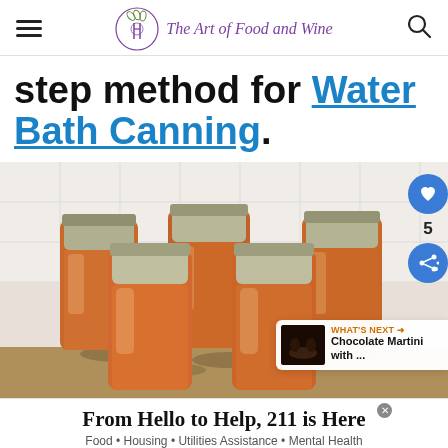The Art of Food and Wine
step method for Water Bath Canning.
[Figure (photo): Multiple mason jars filled with orange preserves/jam, viewed from slightly above, arranged on a kitchen surface with white tile backsplash. Sidebar shows heart icon with count 5, share icon, and a 'WHAT'S NEXT' preview for 'Chocolate Martini with ...']
From Hello to Help, 211 is Here
Food • Housing • Utilities Assistance • Mental Health